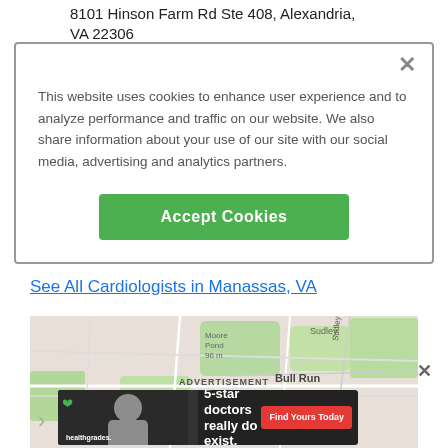8101 Hinson Farm Rd Ste 408, Alexandria, VA 22306
This website uses cookies to enhance user experience and to analyze performance and traffic on our website. We also share information about your use of our site with our social media, advertising and analytics partners.
Accept Cookies
See All Cardiologists in Manassas, VA
[Figure (map): Street map showing Bull Run area near Manassas, VA with surrounding roads and green areas]
ADVERTISEMENT
[Figure (infographic): Healthgrades advertisement banner: '5-star doctors really do exist. Find Yours Today' with photo of smiling doctor wearing glasses]